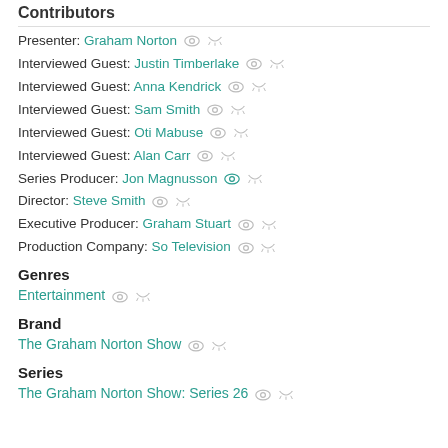Contributors
Presenter: Graham Norton
Interviewed Guest: Justin Timberlake
Interviewed Guest: Anna Kendrick
Interviewed Guest: Sam Smith
Interviewed Guest: Oti Mabuse
Interviewed Guest: Alan Carr
Series Producer: Jon Magnusson
Director: Steve Smith
Executive Producer: Graham Stuart
Production Company: So Television
Genres
Entertainment
Brand
The Graham Norton Show
Series
The Graham Norton Show: Series 26